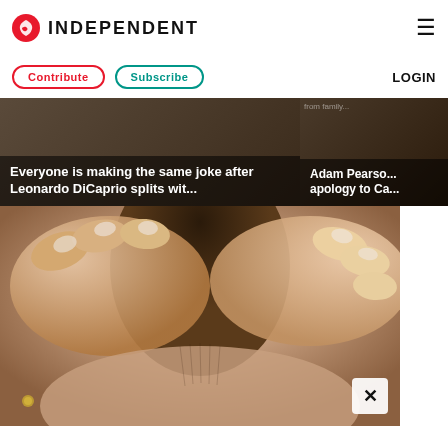INDEPENDENT
Contribute | Subscribe | LOGIN
[Figure (screenshot): Article card: Everyone is making the same joke after Leonardo DiCaprio splits wit...]
[Figure (screenshot): Article card: Adam Pearso... apology to Ca...]
[Figure (photo): Close-up photo of hands touching the back of a person's head/neck, showing hair and skin detail. A close button (X) appears in the bottom right corner.]